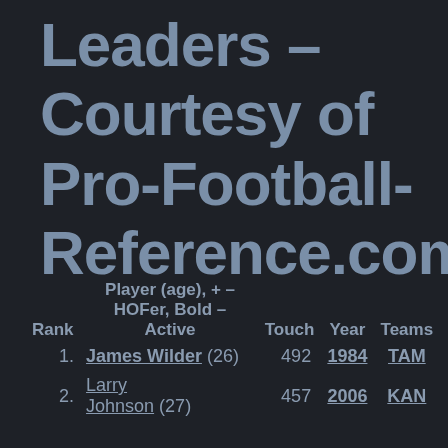Leaders – Courtesy of Pro-Football-Reference.com
| Rank | Player (age), + – HOFer, Bold – Active | Touch | Year | Teams |
| --- | --- | --- | --- | --- |
| 1. | James Wilder (26) | 492 | 1984 | TAM |
| 2. | Larry Johnson (27) | 457 | 2006 | KAN |